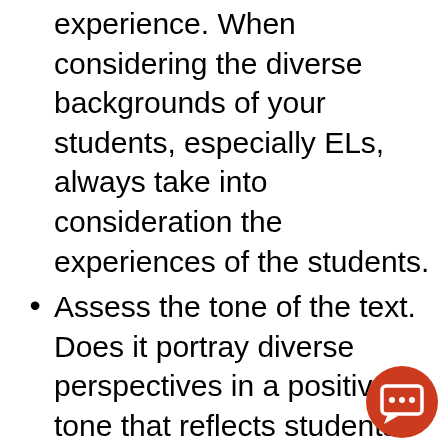experience. When considering the diverse backgrounds of your students, especially ELs, always take into consideration the experiences of the students.
Assess the tone of the text. Does it portray diverse perspectives in a positive tone that reflects students' personal or cultural values? Or does it feature one-dimensional, stereotypical characters with condescending tone?
[Figure (illustration): Orange circular chat/comment icon with speech bubble and three dots, positioned in bottom right corner]